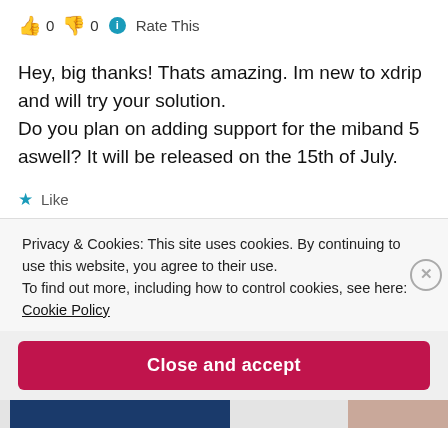👍 0 👎 0 ℹ Rate This
Hey, big thanks! Thats amazing. Im new to xdrip and will try your solution.
Do you plan on adding support for the miband 5 aswell? It will be released on the 15th of July.
★ Like
Privacy & Cookies: This site uses cookies. By continuing to use this website, you agree to their use.
To find out more, including how to control cookies, see here:
Cookie Policy
Close and accept